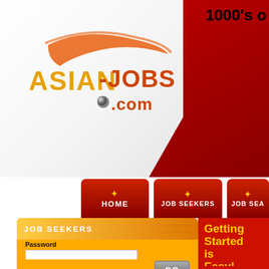[Figure (screenshot): Asian-Jobs.com website header with logo on white/grey angled background and red gradient banner. Orange swoosh logo with ASIAN-JOBS.com text.]
1000's o
[Figure (screenshot): Navigation bar with dark red buttons: HOME, JOB SEEKERS, JOB SEA... each with gold star icon]
JOB SEEKERS
Email address
Password
GO
Forgot Password
Getting Started is Easy!
Welcome to As... Jobs.com! Reg... and finding a jo... free for you. In ... receive the con... information to a...